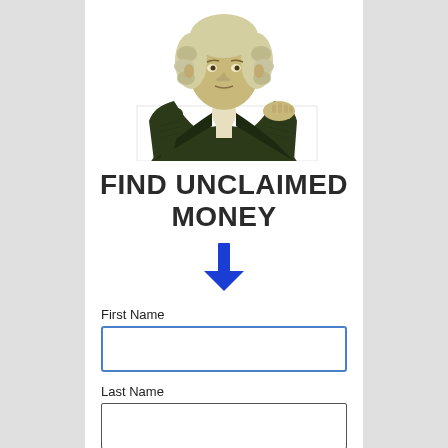[Figure (illustration): George Washington from dollar bill peering over a white ledge, pointing downward with one hand]
FIND UNCLAIMED MONEY
[Figure (other): Blue downward arrow]
First Name
[Figure (other): First Name input text box with blue border]
Last Name
[Figure (other): Last Name input text box with gray border]